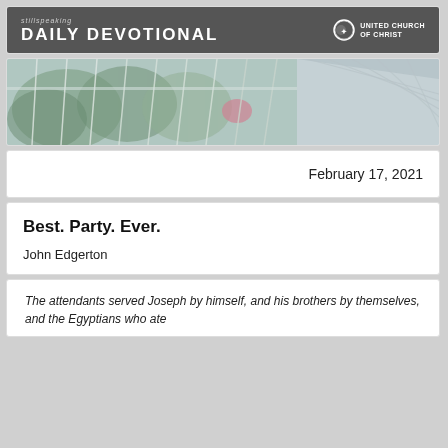stillspeaking DAILY DEVOTIONAL — UNITED CHURCH OF CHRIST
[Figure (photo): Photo of a greenhouse or glass-paneled building structure with plants visible through the glass panels, diagonal architectural lines]
February 17, 2021
Best. Party. Ever.
John Edgerton
The attendants served Joseph by himself, and his brothers by themselves, and the Egyptians who ate